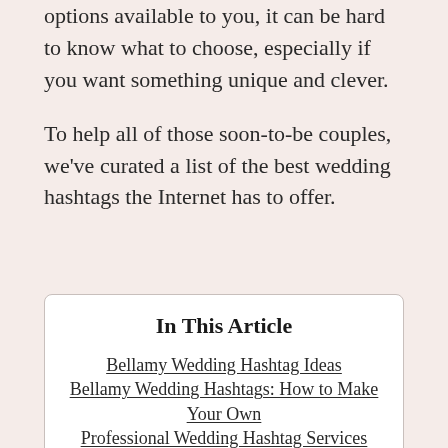options available to you, it can be hard to know what to choose, especially if you want something unique and clever.
To help all of those soon-to-be couples, we've curated a list of the best wedding hashtags the Internet has to offer.
In This Article
Bellamy Wedding Hashtag Ideas
Bellamy Wedding Hashtags: How to Make Your Own
Professional Wedding Hashtag Services